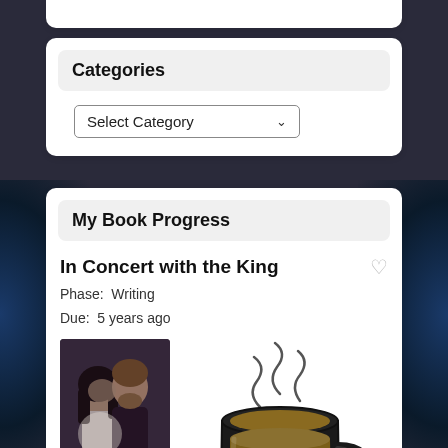Categories
Select Category
My Book Progress
In Concert with the King
Phase:  Writing
Due:  5 years ago
[Figure (illustration): A coffee/tea mug illustration showing 79% completion level with steam rising above]
[Figure (photo): Book cover photo showing a couple, man with beard and woman with dark hair in an intimate pose]